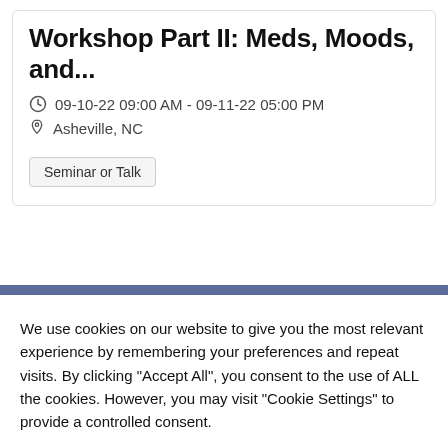Workshop Part II: Meds, Moods, and...
09-10-22 09:00 AM - 09-11-22 05:00 PM
Asheville, NC
Seminar or Talk
We use cookies on our website to give you the most relevant experience by remembering your preferences and repeat visits. By clicking "Accept All", you consent to the use of ALL the cookies. However, you may visit "Cookie Settings" to provide a controlled consent.
Cookie Settings
Accept All